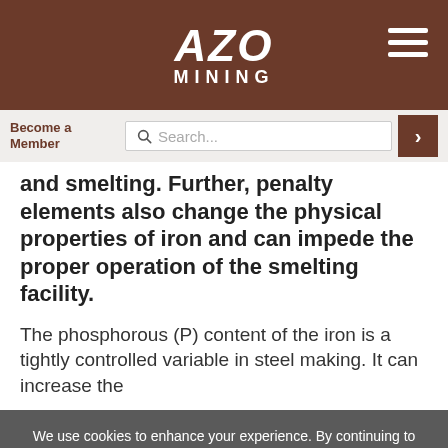AZO MINING
Become a Member
Search...
and smelting. Further, penalty elements also change the physical properties of iron and can impede the proper operation of the smelting facility.
The phosphorous (P) content of the iron is a tightly controlled variable in steel making. It can increase the
We use cookies to enhance your experience. By continuing to browse this site you agree to our use of cookies. More info.
Accept
Cookie Settings